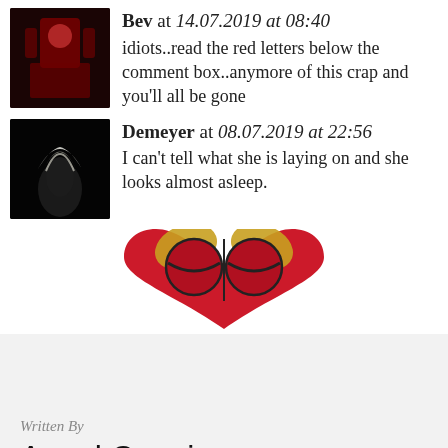Bev at 14.07.2019 at 08:40
idiots..read the red letters below the comment box..anymore of this crap and you'll all be gone
Demeyer at 08.07.2019 at 22:56
I can't tell what she is laying on and she looks almost asleep.
[Figure (logo): Heart-shaped logo with two stylized red circular shapes and gold wing-like elements forming an owl or face within a heart, on a white circular background]
Written By
Angel Connie